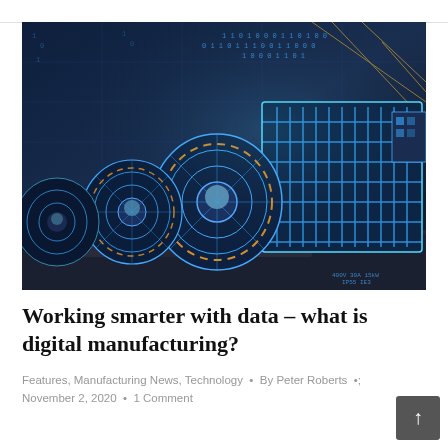[Figure (photo): Industrial electric motors shown with glowing blue digital/wireframe overlay, representing digital twin or digital manufacturing technology. Binary code and data streams visible in background.]
Working smarter with data – what is digital manufacturing?
Features, Manufacturing News, Technology • By Peter Roberts • November 2, 2020 • 1 Comment